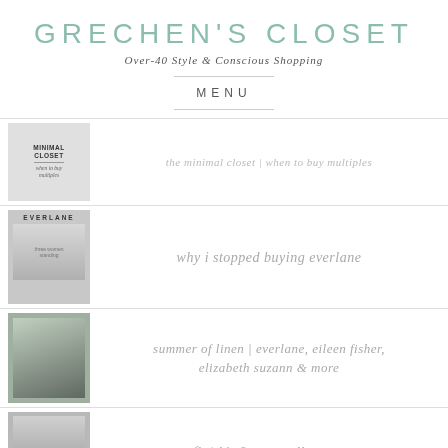GRECHEN'S CLOSET
Over-40 Style & Conscious Shopping
MENU
the minimal closet | when to buy multiples
why i stopped buying everlane
summer of linen | everlane, eileen fisher, elizabeth suzann & more
outfit | kit & ace mulberry pant